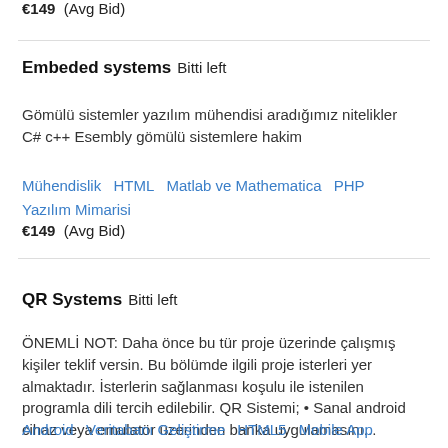€149  (Avg Bid)
Embeded systems  Bitti left
Gömülü sistemler yazılım mühendisi aradığımız nitelikler C# c++ Esembly gömülü sistemlere hakim
Mühendislik   HTML   Matlab ve Mathematica   PHP   Yazılım Mimarisi
€149  (Avg Bid)
QR Systems  Bitti left
ÖNEMLİ NOT: Daha önce bu tür proje üzerinde çalışmış kişiler teklif versin. Bu bölümde ilgili proje isterleri yer almaktadır. İsterlerin sağlanması koşulu ile istenilen programla dili tercih edilebilir. QR Sistemi; • Sanal android cihaz veya emulatör üzerinden banka uygulamasını...
Android   Veritabanı Geliştirme   HTML5   Mobile App